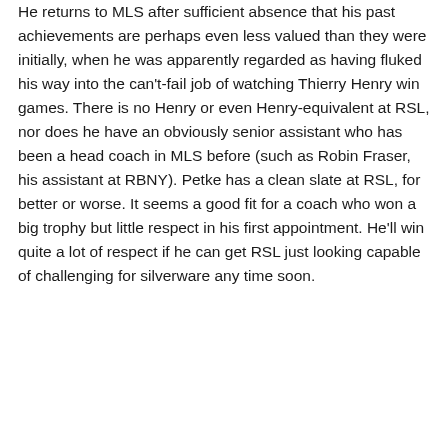He returns to MLS after sufficient absence that his past achievements are perhaps even less valued than they were initially, when he was apparently regarded as having fluked his way into the can't-fail job of watching Thierry Henry win games. There is no Henry or even Henry-equivalent at RSL, nor does he have an obviously senior assistant who has been a head coach in MLS before (such as Robin Fraser, his assistant at RBNY). Petke has a clean slate at RSL, for better or worse. It seems a good fit for a coach who won a big trophy but little respect in his first appointment. He'll win quite a lot of respect if he can get RSL just looking capable of challenging for silverware any time soon.